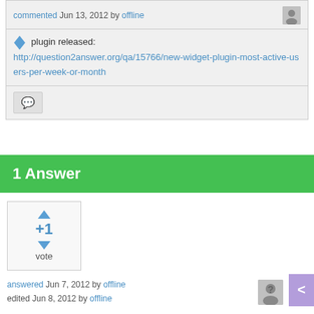commented Jun 13, 2012 by offline
plugin released: http://question2answer.org/qa/15766/new-widget-plugin-most-active-users-per-week-or-month
1 Answer
answered Jun 7, 2012 by offline
edited Jun 8, 2012 by offline